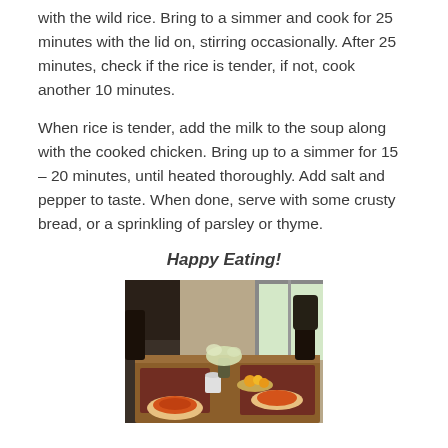with the wild rice. Bring to a simmer and cook for 25 minutes with the lid on, stirring occasionally. After 25 minutes, check if the rice is tender, if not, cook another 10 minutes.
When rice is tender, add the milk to the soup along with the cooked chicken. Bring up to a simmer for 15 – 20 minutes, until heated thoroughly. Add salt and pepper to taste. When done, serve with some crusty bread, or a sprinkling of parsley or thyme.
Happy Eating!
[Figure (photo): A dining table set with plates, bowls, and decorative items in a home setting.]